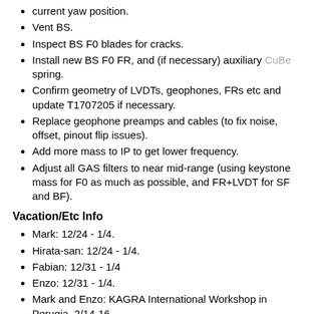current yaw position.
Vent BS.
Inspect BS F0 blades for cracks.
Install new BS F0 FR, and (if necessary) auxiliary CuBe spring.
Confirm geometry of LVDTs, geophones, FRs etc and update T1707205 if necessary.
Replace geophone preamps and cables (to fix noise, offset, pinout flip issues).
Add more mass to IP to get lower frequency.
Adjust all GAS filters to near mid-range (using keystone mass for F0 as much as possible, and FR+LVDT for SF and BF).
Vacation/Etc Info
Mark: 12/24 - 1/4.
Hirata-san: 12/24 - 1/4.
Fabian: 12/31 - 1/4
Enzo: 12/31 - 1/4.
Mark and Enzo: KAGRA International Workshop in Perugia, 2/14-16.
Terrence: back at Kamioka from 1/7.